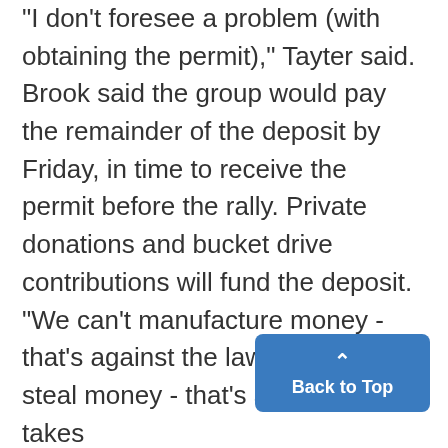"I don't foresee a problem (with obtaining the permit)," Tayter said. Brook said the group would pay the remainder of the deposit by Friday, in time to receive the permit before the rally. Private donations and bucket drive contributions will fund the deposit. "We can't manufacture money - that's against the law. We can't steal money - that's ag... law. It just takes...